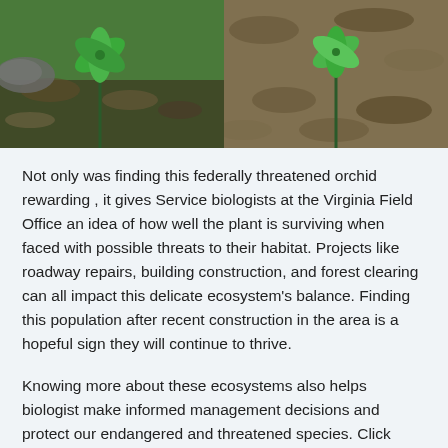[Figure (photo): Two side-by-side photos of small whorled pogonia orchid plants on a forest floor with dead leaves. Left photo shows a green three-leaf plant near a rock. Right photo shows a similar green plant surrounded by brown dead leaves.]
Not only was finding this federally threatened orchid rewarding , it gives Service biologists at the Virginia Field Office an idea of how well the plant is surviving when faced with possible threats to their habitat. Projects like roadway repairs, building construction, and forest clearing can all impact this delicate ecosystem's balance. Finding this population after recent construction in the area is a hopeful sign they will continue to thrive.
Knowing more about these ecosystems also helps biologist make informed management decisions and protect our endangered and threatened species. Click here to learn more about small whorled pogonia and other threatened and endangered species work happening in Virginia!